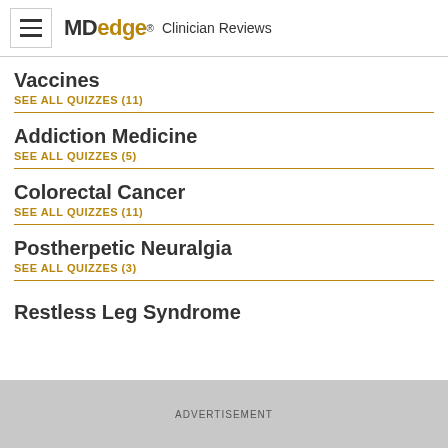MDedge® Clinician Reviews
Vaccines
SEE ALL QUIZZES (11)
Addiction Medicine
SEE ALL QUIZZES (5)
Colorectal Cancer
SEE ALL QUIZZES (11)
Postherpetic Neuralgia
SEE ALL QUIZZES (3)
Restless Leg Syndrome
ADVERTISEMENT